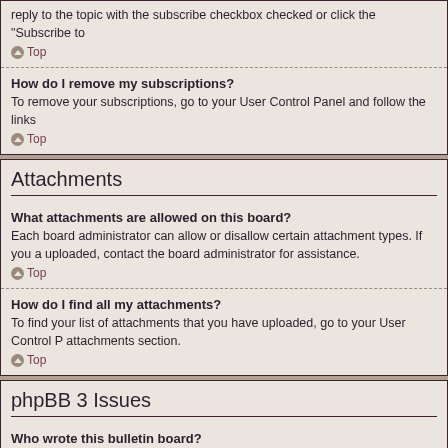reply to the topic with the subscribe checkbox checked or click the “Subscribe to
Top
How do I remove my subscriptions?
To remove your subscriptions, go to your User Control Panel and follow the links
Top
Attachments
What attachments are allowed on this board?
Each board administrator can allow or disallow certain attachment types. If you a uploaded, contact the board administrator for assistance.
Top
How do I find all my attachments?
To find your list of attachments that you have uploaded, go to your User Control P attachments section.
Top
phpBB 3 Issues
Who wrote this bulletin board?
This software (in its unmodified form) is produced, released and is copyright phpB under the GNU General Public License and may be freely distributed. See the lin